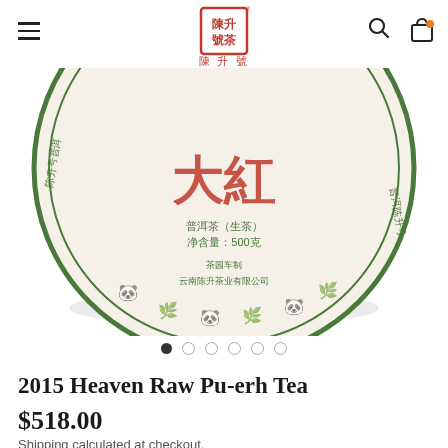陳升號 [logo]
[Figure (photo): A circular Pu-erh tea cake (bing cha) with Chinese text and decorative border, shown from above at an angle. The wrapper is cream/white with green circular border and red Chinese characters in the center. Text reads 普洱茶（生茶）净含量：500克 and 云南陈升茶业有限公司]
● ○ ○ ○ ○ ○
2015 Heaven Raw Pu-erh Tea
$518.00
Shipping calculated at checkout.